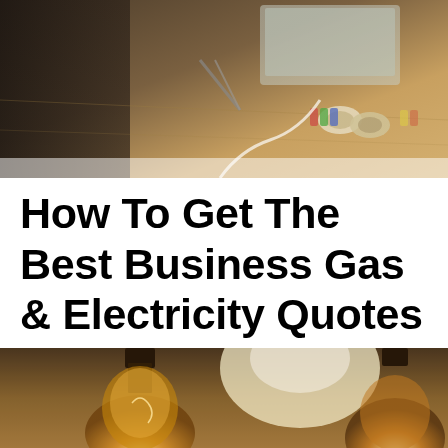[Figure (photo): Photo of a wooden desk with a laptop, scissors, colored tape rolls, and office supplies viewed from an angle]
How To Get The Best Business Gas & Electricity Quotes
[Figure (photo): Close-up photo of vintage Edison-style filament light bulbs hanging, glowing warm amber/golden light against a blurred background]